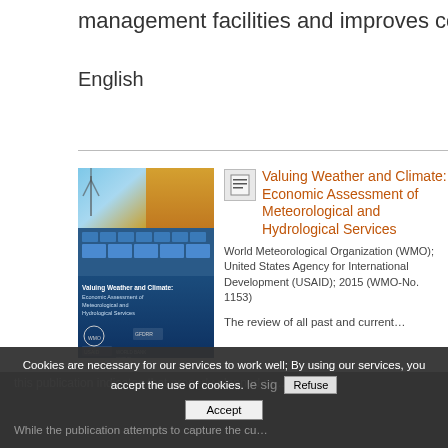management facilities and improves construction…
English
[Figure (illustration): Book cover of 'Valuing Weather and Climate: Economic Assessment of Meteorological and Hydrological Services' with images of wind turbines, wheat field, and meteorological operations center. Published by WMO, World Bank/GFDRR, and USAID.]
Valuing Weather and Climate: Economic Assessment of Meteorological and Hydrological Services
World Meteorological Organization (WMO); United States Agency for International Development (USAID); 2015 (WMO-No. 1153)
The review of all past and current…
this publication indicates that properly planned m…
While the publication attempts to capture the cu…